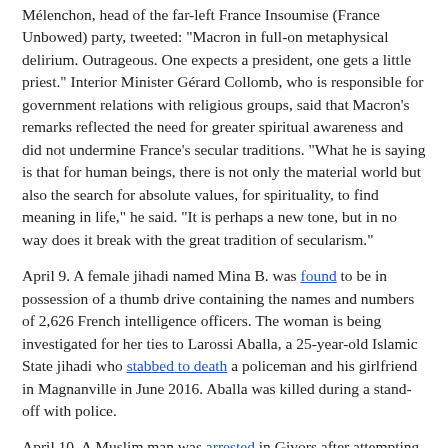Mélenchon, head of the far-left France Insoumise (France Unbowed) party, tweeted: "Macron in full-on metaphysical delirium. Outrageous. One expects a president, one gets a little priest." Interior Minister Gérard Collomb, who is responsible for government relations with religious groups, said that Macron's remarks reflected the need for greater spiritual awareness and did not undermine France's secular traditions. "What he is saying is that for human beings, there is not only the material world but also the search for absolute values, for spirituality, to find meaning in life," he said. "It is perhaps a new tone, but in no way does it break with the great tradition of secularism."
April 9. A female jihadi named Mina B. was found to be in possession of a thumb drive containing the names and numbers of 2,626 French intelligence officers. The woman is being investigated for her ties to Larossi Aballa, a 25-year-old Islamic State jihadi who stabbed to death a policeman and his girlfriend in Magnanville in June 2016. Aballa was killed during a stand-off with police.
April 10. A Muslim man was arrested in Givors after attempting to strangle his 26-year-old daughter's boyfriend. Police said the father disapproved of the boyfriend because he is not Muslim.
April 10. Two men shouting "Allahu Akbar" ["Allah is the